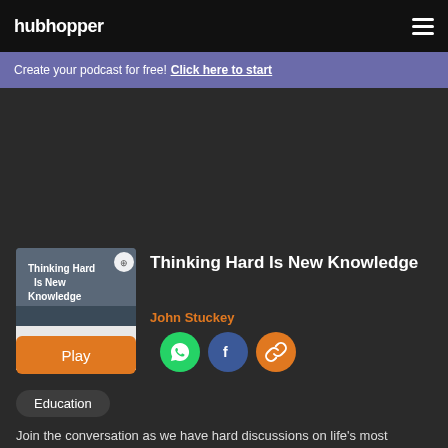hubhopper
Create your podcast for free! Click here to start
[Figure (illustration): Podcast cover art showing 'Thinking Hard Is New Knowledge' with a person and a 'THINK OUTSIDE THE BOX' sign]
Thinking Hard Is New Knowledge
John Stuckey
Play
Education
Join the conversation as we have hard discussions on life's most complex topics. Email me at